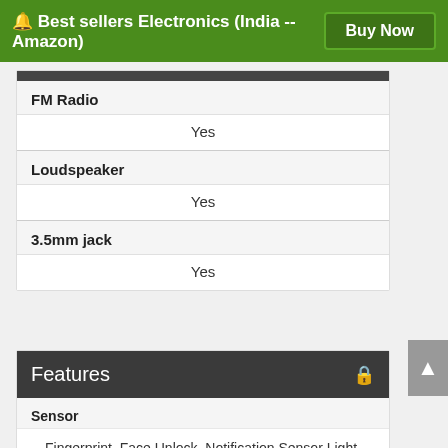🔔 Best sellers Electronics (India -- Amazon)  Buy Now
| Feature | Value |
| --- | --- |
| FM Radio | Yes |
| Loudspeaker | Yes |
| 3.5mm jack | Yes |
Features 🔒
Sensor
Fingerprint, Face Unlock, Notification Sensor Light, Proximity, Sensor Accelerometer